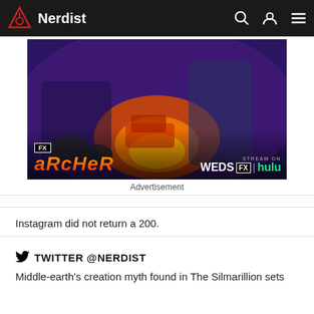Nerdist
[Figure (illustration): Archer animated TV show advertisement for FX on Hulu. Shows animated characters in action scene with explosions and vehicles. Text reads: FX ARCHER WEDS FX | hulu STREAM ON]
Advertisement
Instagram did not return a 200.
TWITTER @NERDIST
Middle-earth's creation myth found in The Silmarillion sets